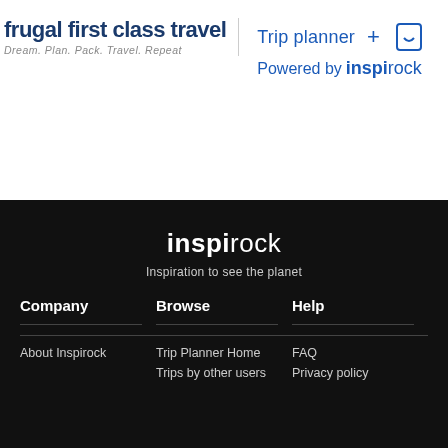frugal first class travel — Dream. Plan. Pack. Travel. Repeat — Trip planner Powered by inspirock
inspirock
Inspiration to see the planet
Company
Browse
Help
About Inspirock
Trip Planner Home
FAQ
Trips by other users
Privacy policy